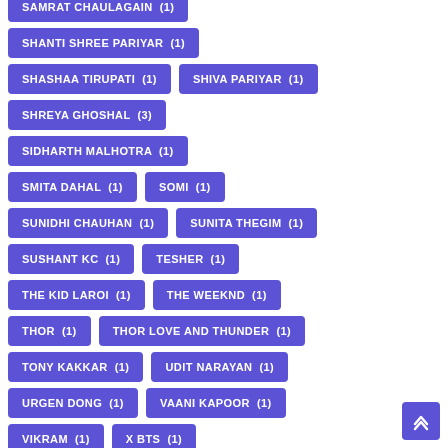SAMRAT CHAULAGAIN (1)
SHANTI SHREE PARIYAR (1)
SHASHAA TIRUPATI (1)
SHIVA PARIYAR (1)
SHREYA GHOSHAL (3)
SIDHARTH MALHOTRA (1)
SMITA DAHAL (1)
SOMI (1)
SUNIDHI CHAUHAN (1)
SUNITA THEGIM (1)
SUSHANT KC (1)
TESHER (1)
THE KID LAROI (1)
THE WEEKND (1)
THOR (1)
THOR LOVE AND THUNDER (1)
TONY KAKKAR (1)
UDIT NARAYAN (1)
URGEN DONG (1)
VAANI KAPOOR (1)
VIKRAM (1)
X BTS (1)
YABESH THAPA (1)
YO YO HONEY SINGH (1)